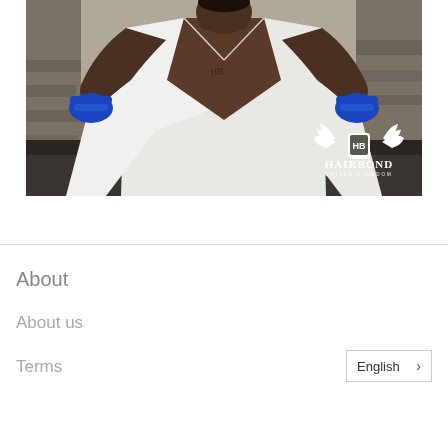[Figure (photo): Athletic man with blue boxing hand wraps tearing open a white dress shirt, revealing tattoos on his chest. Stone steps in background. Hairbond UK logo in bottom right corner of photo.]
About
About us
Terms
English >